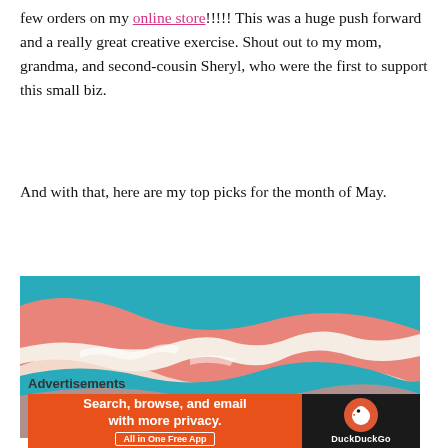few orders on my online store!!!!! This was a huge push forward and a really great creative exercise. Shout out to my mom, grandma, and second-cousin Sheryl, who were the first to support this small biz.
And with that, here are my top picks for the month of May.
[Figure (illustration): Abstract colorful illustration with teal, salmon/pink, and cream brush-stroke wave shapes layered on a light background.]
Advertisements
[Figure (screenshot): DuckDuckGo advertisement banner: orange left side with text 'Search, browse, and email with more privacy. All in One Free App', dark right side with DuckDuckGo duck logo and brand name.]